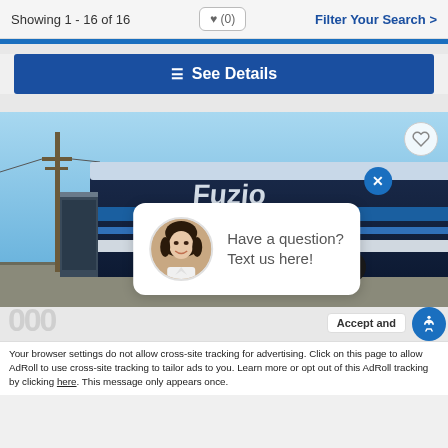Showing 1 - 16 of 16
♥ (0)
Filter Your Search >
☰ See Details
[Figure (photo): RV / fifth-wheel trailer (Fuzion brand) parked outdoors against a blue sky, with utility poles visible in background. Chat popup overlay with woman avatar and text 'Have a question? Text us here!']
Have a question? Text us here!
Accept and
Your browser settings do not allow cross-site tracking for advertising. Click on this page to allow AdRoll to use cross-site tracking to tailor ads to you. Learn more or opt out of this AdRoll tracking by clicking here. This message only appears once.